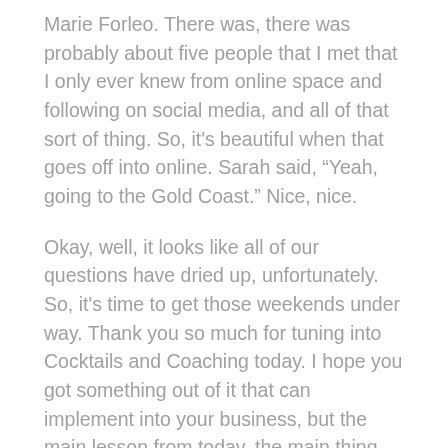Marie Forleo. There was, there was probably about five people that I met that I only ever knew from online space and following on social media, and all of that sort of thing. So, it's beautiful when that goes off into online. Sarah said, “Yeah, going to the Gold Coast.” Nice, nice.
Okay, well, it looks like all of our questions have dried up, unfortunately. So, it's time to get those weekends under way. Thank you so much for tuning into Cocktails and Coaching today. I hope you got something out of it that can implement into your business, but the main lesson from today, the main thing that I want you to take out even if you've got nothing else from, from today's session, is next time you have to make a decision, don't overthink it. Trust